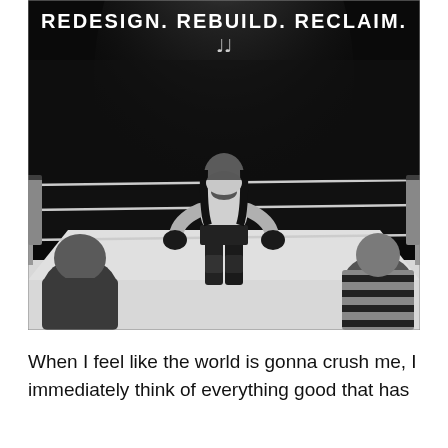[Figure (photo): Black and white photo of a wrestler/fighter standing in a boxing ring, viewed from ringside. The figure has long hair and a beard, is shirtless with gloves, illuminated by a bright spotlight from above. Two figures (a bald man and a referee in striped shirt) are seen from behind in the foreground. Text overlay at the top reads 'REDESIGN. REBUILD. RECLAIM.' with a small music note icon below it.]
When I feel like the world is gonna crush me, I immediately think of everything good that has